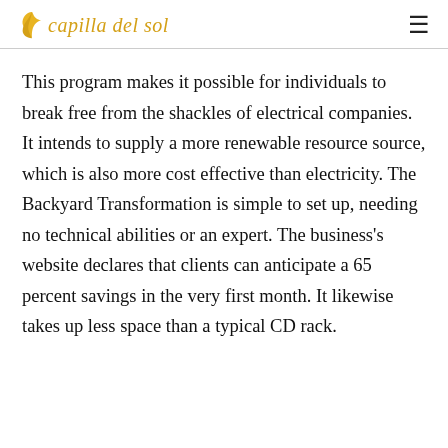capilla del sol
This program makes it possible for individuals to break free from the shackles of electrical companies. It intends to supply a more renewable resource source, which is also more cost effective than electricity. The Backyard Transformation is simple to set up, needing no technical abilities or an expert. The business’s website declares that clients can anticipate a 65 percent savings in the very first month. It likewise takes up less space than a typical CD rack.